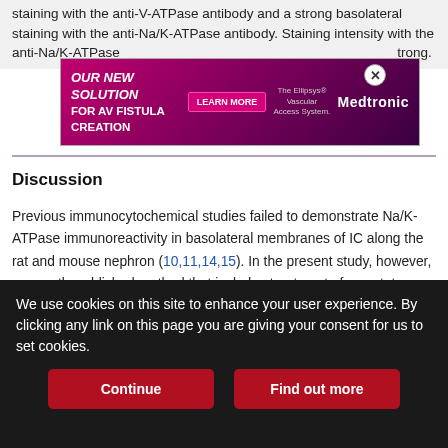staining with the anti-V-ATPase antibody and a strong basolateral staining with the anti-Na/K-ATPase antibody. Staining intensity with the anti-Na/K-ATPase [ad obscured] trong.
[Figure (infographic): Medtronic advertisement banner for AV Fistula Creation solution - The Ellipsys Vascular Access System with Learn More button]
Discussion
Previous immunocytochemical studies failed to demonstrate Na/K-ATPase immunoreactivity in basolateral membranes of IC along the rat and mouse nephron (10,11,14,15). In the present study, however, a recently published method that includes treatment of cryostat sections with SDS (19) enabled us to reveal hidden epitopes and to demonstrate previously unrecognized binding sites for the anti-Na/K-ATPase antibody in the basolateral membrane of IC along the rat nephron.
We use cookies on this site to enhance your user experience. By clicking any link on this page you are giving your consent for us to set cookies.